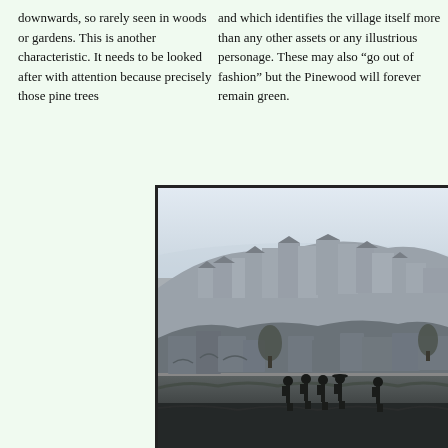downwards, so rarely seen in woods or gardens. This is another characteristic. It needs to be looked after with attention because precisely those pine trees
and which identifies the village itself more than any other assets or any illustrious personage. These may also “go out of fashion” but the Pinewood will forever remain green.
[Figure (photo): Black and white historical photograph showing a panoramic view of a hilltop village or town with stone buildings, with several people standing in the foreground on a grassy slope.]